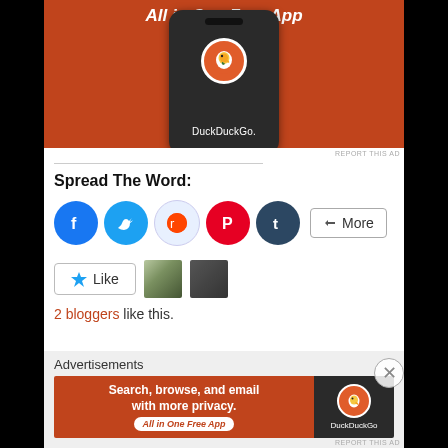[Figure (photo): DuckDuckGo advertisement showing a smartphone with DuckDuckGo logo on orange background with text 'All in One Free App']
REPORT THIS AD
Spread The Word:
[Figure (infographic): Social sharing buttons: Facebook, Twitter, Reddit, Pinterest, Tumblr, and More]
[Figure (infographic): Like button with star icon and two blogger avatar thumbnails]
2 bloggers like this.
Advertisements
[Figure (photo): DuckDuckGo advertisement banner: 'Search, browse, and email with more privacy. All in One Free App' with DuckDuckGo logo on dark background]